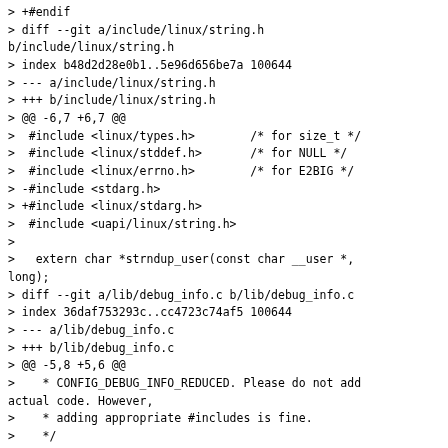> +#endif
> diff --git a/include/linux/string.h b/include/linux/string.h
> index b48d2d28e0b1..5e96d656be7a 100644
> --- a/include/linux/string.h
> +++ b/include/linux/string.h
> @@ -6,7 +6,7 @@
>  #include <linux/types.h>        /* for size_t */
>  #include <linux/stddef.h>       /* for NULL */
>  #include <linux/errno.h>        /* for E2BIG */
> -#include <stdarg.h>
> +#include <linux/stdarg.h>
>  #include <uapi/linux/string.h>
> 
>   extern char *strndup_user(const char __user *, long);
> diff --git a/lib/debug_info.c b/lib/debug_info.c
> index 36daf753293c..cc4723c74af5 100644
> --- a/lib/debug_info.c
> +++ b/lib/debug_info.c
> @@ -5,8 +5,6 @@
>    * CONFIG_DEBUG_INFO_REDUCED. Please do not add actual code. However,
>    * adding appropriate #includes is fine.
>    */
> -#include <stdarg.h>
> -
>  #include <linux/cred.h>
>  #include <linux/crypto.h>
>  #include <linux/dcache.h>